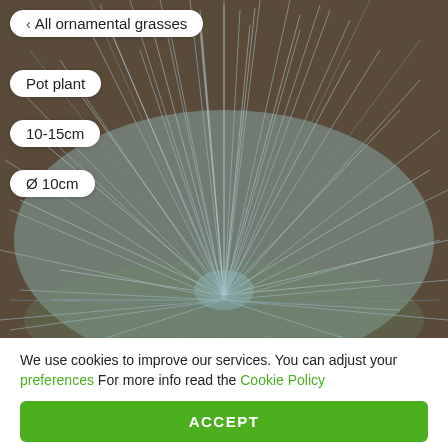[Figure (photo): Close-up photo of a blue ornamental grass (Festuca glauca) with fine silvery-blue blades spreading outward in a mounding form, with soil and gravel visible in the background.]
< All ornamental grasses
Pot plant
10-15cm
Ø 10cm
We use cookies to improve our services. You can adjust your preferences For more info read the Cookie Policy
ACCEPT